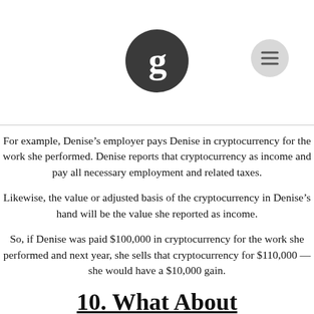[Figure (logo): Circular dark grey logo with stylized letter G in white, centered at top of page]
[Figure (other): Hamburger menu icon button, grey circle with three horizontal lines, top right corner]
For example, Denise’s employer pays Denise in cryptocurrency for the work she performed. Denise reports that cryptocurrency as income and pay all necessary employment and related taxes.
Likewise, the value or adjusted basis of the cryptocurrency in Denise’s hand will be the value she reported as income.
So, if Denise was paid $100,000 in cryptocurrency for the work she performed and next year, she sells that cryptocurrency for $110,000 — she would have a $10,000 gain.
10. What About